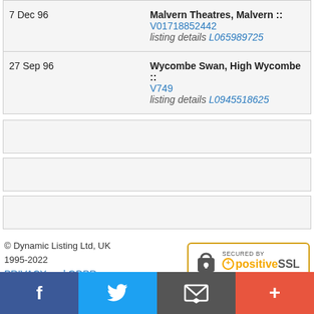| Date | Venue |
| --- | --- |
| 7 Dec 96 | Malvern Theatres, Malvern :: V01718852442 listing details L065989725 |
| 27 Sep 96 | Wycombe Swan, High Wycombe :: V749 listing details L0945518625 |
© Dynamic Listing Ltd, UK 1995-2022
PRIVACY and GDPR
[Figure (logo): Secured by PositiveSSL badge with padlock icon]
[Figure (infographic): Social media bar with Facebook, Twitter, Email, and Plus buttons]